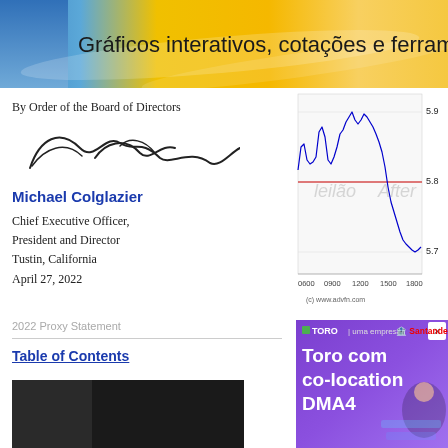[Figure (illustration): Website banner with blue and gold gradient background showing text 'Gráficos interativos, cotações e ferram...' (interactive charts, quotes and tools)]
By Order of the Board of Directors
[Figure (illustration): Handwritten signature of Michael Colglazier]
Michael Colglazier
Chief Executive Officer,
President and Director
Tustin, California
April 27, 2022
2022 Proxy Statement
Table of Contents
[Figure (line-chart): Line chart showing stock price movement from 0600 to 1800, with price range approximately 5.7 to 5.9. Blue line shows intraday price movement with a horizontal red reference line around 5.8. Labels 'leilão' and 'After' visible. Source: (c) www.advfn.com]
[Figure (illustration): Advertisement for Toro (uma empresa Santander) DMA4 co-location service with purple gradient background and person looking at screens]